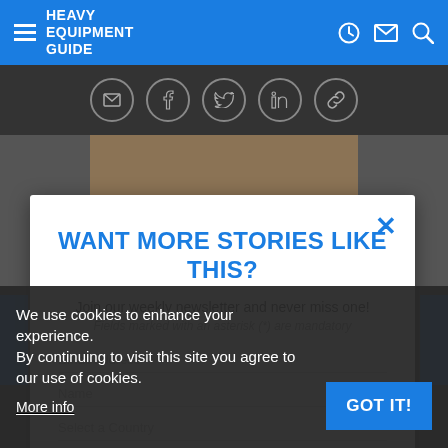Heavy Equipment Guide
[Figure (screenshot): Social sharing icons bar with email, facebook, twitter, linkedin, and link icons on dark background]
[Figure (photo): Gravel or aggregate material background photo]
WANT MORE STORIES LIKE THIS?
Join our weekly newsletter and never miss one!
Fields marked with an asterisk (*) are mandatory
Email address
Name
Select a Country
We use cookies to enhance your experience.
By continuing to visit this site you agree to our use of cookies.
More info
GOT IT!